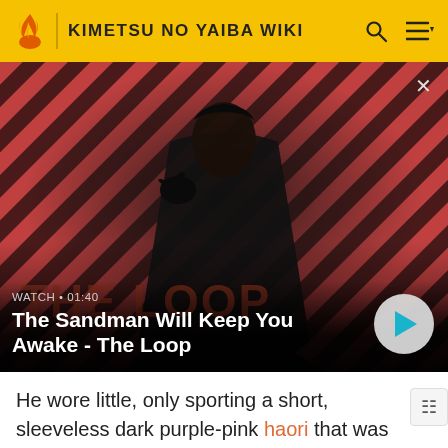KIMETSU NO YAIBA WIKI
[Figure (screenshot): Video thumbnail showing a dark figure with a raven on his shoulder against a red and black diagonal striped background. Overlay text reads WATCH • 01:40 and title The Sandman Will Keep You Awake - The Loop with a play button.]
He wore little, only sporting a short, sleeveless dark purple-pink haori that was cut off at his waist, left ope expose his chest, that was decorated by a square pattern on his back. Below this, he sported a pair of baggy white pants that he rolled to just below the knee with a blue